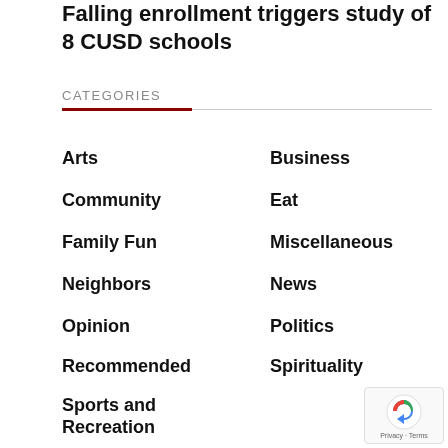Falling enrollment triggers study of 8 CUSD schools
CATEGORIES
Arts
Business
Community
Eat
Family Fun
Miscellaneous
Neighbors
News
Opinion
Politics
Recommended
Spirituality
Sports and Recreation